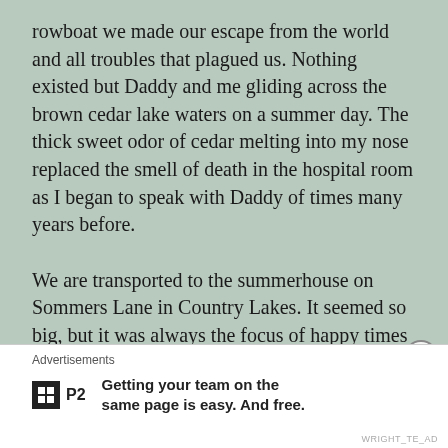rowboat we made our escape from the world and all troubles that plagued us. Nothing existed but Daddy and me gliding across the brown cedar lake waters on a summer day. The thick sweet odor of cedar melting into my nose replaced the smell of death in the hospital room as I began to speak with Daddy of times many years before.
We are transported to the summerhouse on Sommers Lane in Country Lakes. It seemed so big, but it was always the focus of happy times in a childhood awash with dysfunction and pain
Advertisements
Getting your team on the same page is easy. And free.